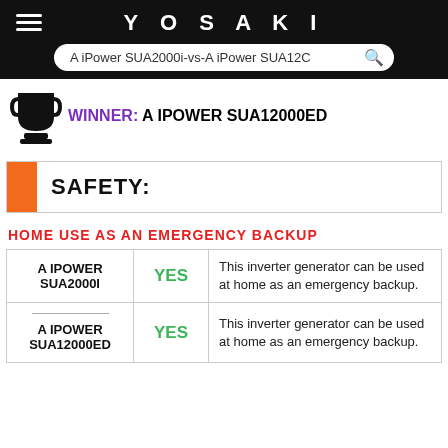YOSAKI
A iPower SUA2000i-vs-A iPower SUA12000ED [search bar]
WINNER: A IPOWER SUA12000ED
SAFETY:
HOME USE AS AN EMERGENCY BACKUP
|  |  |  |
| --- | --- | --- |
| A IPOWER SUA2000I | YES | This inverter generator can be used at home as an emergency backup. |
| A IPOWER SUA12000ED | YES | This inverter generator can be used at home as an emergency backup. |